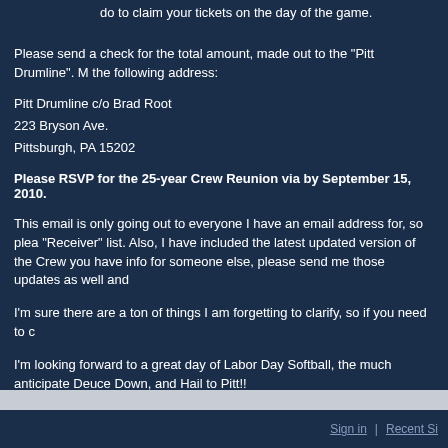do to claim your tickets on the day of the game.
Please send a check for the total amount, made out to the "Pitt Drumline". Mail it to the following address:
Pitt Drumline c/o Brad Root
223 Bryson Ave.
Pittsburgh, PA 15202
Please RSVP for the 25-year Crew Reunion via by September 15, 2010.
This email is only going out to everyone I have an email address for, so please forward to the "Receiver" list. Also, I have included the latest updated version of the Crew contact list, so if you have info for someone else, please send me those updates as well and
I'm sure there are a ton of things I am forgetting to clarify, so if you need to c
I'm looking forward to a great day of Labor Day Softball, the much anticipate Deuce Down, and Hail to Pitt!!
~ Brad "White Trash" Root
Comments
Sign in   Recent Si